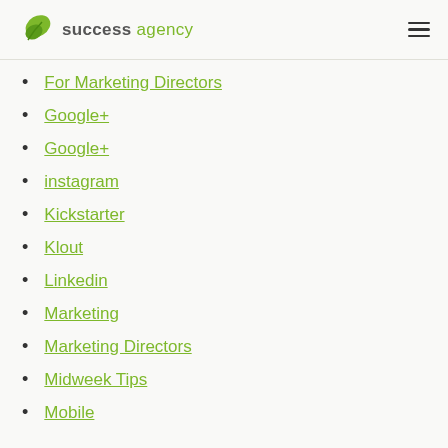success agency
For Marketing Directors
Google+
Google+
instagram
Kickstarter
Klout
Linkedin
Marketing
Marketing Directors
Midweek Tips
Mobile